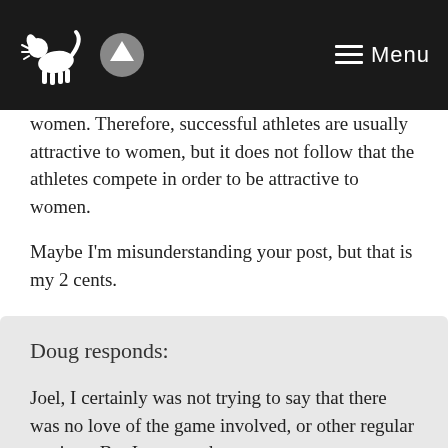Menu
women. Therefore, successful athletes are usually attractive to women, but it does not follow that the athletes compete in order to be attractive to women.
Maybe I'm misunderstanding your post, but that is my 2 cents.
Joel
Doug responds:
Joel, I certainly was not trying to say that there was no love of the game involved, or other regular motives. But I suspect that